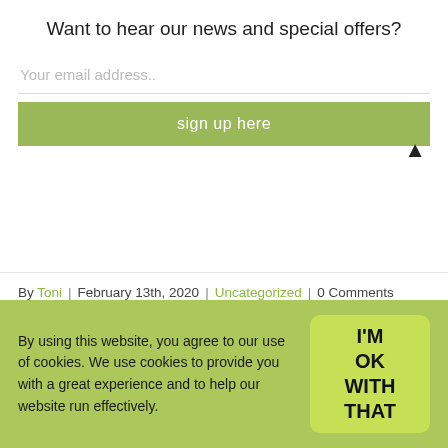Want to hear our news and special offers?
Your email address..
sign up here
▲
By Toni | February 13th, 2020 | Uncategorized | 0 Comments
By using this website, you agree to our use of cookies. We use cookies to provide you with a great experience and to help our website run effectively.
I'M OK WITH THAT